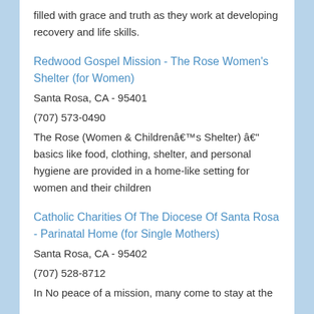filled with grace and truth as they work at developing recovery and life skills.
Redwood Gospel Mission - The Rose Women's Shelter (for Women)
Santa Rosa, CA - 95401
(707) 573-0490
The Rose (Women & Childrenâ€™s Shelter) â€” basics like food, clothing, shelter, and personal hygiene are provided in a home-like setting for women and their children
Catholic Charities Of The Diocese Of Santa Rosa - Parinatal Home (for Single Mothers)
Santa Rosa, CA - 95402
(707) 528-8712
In No peace of a mission, many come to stay at the